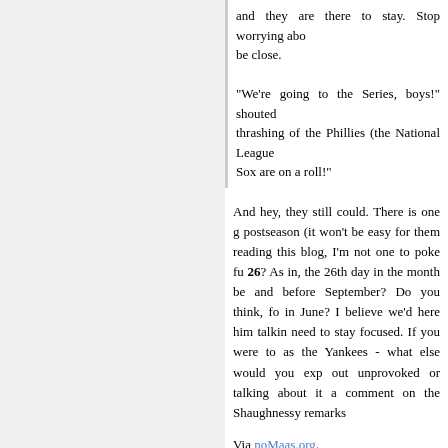and they are there to stay. Stop worrying about it, it'll be close. "We're going to the Series, boys!" shouted after thrashing of the Phillies (the National League Sox are on a roll!"
And hey, they still could. There is one g postseason (it won't be easy for them reading this blog, I'm not one to poke fu 26? As in, the 26th day in the month be and before September? Do you think, fo in June? I believe we'd here him talkin need to stay focused. If you were to as the Yankees - what else would you exp out unprovoked or talking about it a comment on the Shaughnessy remarks
Via noMaas.org.
10/02: Rejoicing Around the Y
Posted by: Patrick
In addition to us, check out posts by Yankees and Steve Lombardi.
10/02: Joe Torre
Posted by: Patrick